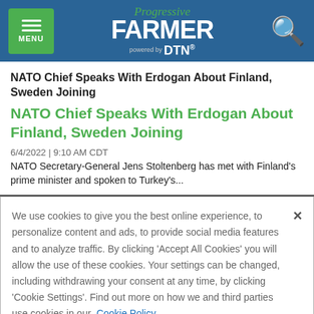MENU | Progressive FARMER powered by DTN
NATO Chief Speaks With Erdogan About Finland, Sweden Joining
NATO Chief Speaks With Erdogan About Finland, Sweden Joining
6/4/2022 | 9:10 AM CDT
NATO Secretary-General Jens Stoltenberg has met with Finland's prime minister and spoken to Turkey's...
We use cookies to give you the best online experience, to personalize content and ads, to provide social media features and to analyze traffic. By clicking 'Accept All Cookies' you will allow the use of these cookies. Your settings can be changed, including withdrawing your consent at any time, by clicking 'Cookie Settings'. Find out more on how we and third parties use cookies in our Cookie Policy
Accept and Close ×
Your browser settings do not allow cross-site tracking for advertising. Click on this page to allow AdRoll to use cross-site tracking to tailor ads to you. Learn more or opt out of this AdRoll tracking by clicking here. This message only appears once.